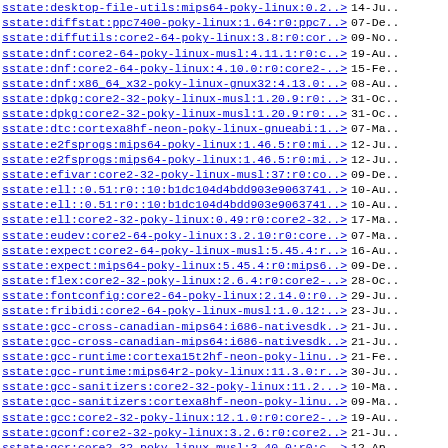| Package | Date |
| --- | --- |
| sstate:desktop-file-utils:mips64-poky-linux:0.2..> | 14-Ju.. |
| sstate:diffstat:ppc7400-poky-linux:1.64:r0:ppc7..> | 07-De.. |
| sstate:diffutils:core2-64-poky-linux:3.8:r0:cor..> | 09-No.. |
| sstate:dnf:core2-64-poky-linux-musl:4.11.1:r0:c..> | 19-Au.. |
| sstate:dnf:core2-64-poky-linux:4.10.0:r0:core2-..> | 15-Fe.. |
| sstate:dnf:x86_64_x32-poky-linux-gnux32:4.13.0:..> | 08-Au.. |
| sstate:dpkg:core2-32-poky-linux-musl:1.20.9:r0:..> | 31-Oc.. |
| sstate:dpkg:core2-32-poky-linux-musl:1.20.9:r0:..> | 31-Oc.. |
| sstate:dtc:cortexa8hf-neon-poky-linux-gnueabi:1..> | 07-Ma.. |
| sstate:e2fsprogs:mips64-poky-linux:1.46.5:r0:mi..> | 12-Ju.. |
| sstate:e2fsprogs:mips64-poky-linux:1.46.5:r0:mi..> | 12-Ju.. |
| sstate:efivar:core2-32-poky-linux-musl:37:r0:co..> | 09-De.. |
| sstate:ell::0.51:r0::10:b1dc104d4bdd903e9063741..> | 10-Au.. |
| sstate:ell::0.51:r0::10:b1dc104d4bdd903e9063741..> | 10-Au.. |
| sstate:ell:core2-32-poky-linux:0.49:r0:core2-32..> | 17-Ma.. |
| sstate:eudev:core2-64-poky-linux:3.2.10:r0:core..> | 07-Ma.. |
| sstate:expect:core2-64-poky-linux-musl:5.45.4:r..> | 16-Au.. |
| sstate:expect:mips64-poky-linux:5.45.4:r0:mips6..> | 09-De.. |
| sstate:flex:core2-32-poky-linux:2.6.4:r0:core2-..> | 28-Oc.. |
| sstate:fontconfig:core2-64-poky-linux:2.14.0:r0..> | 29-Ju.. |
| sstate:fribidi:core2-64-poky-linux-musl:1.0.12:..> | 23-Ju.. |
| sstate:gcc-cross-canadian-mips64:i686-nativesdk..> | 21-Ju.. |
| sstate:gcc-cross-canadian-mips64:i686-nativesdk..> | 21-Ju.. |
| sstate:gcc-runtime:cortexa15t2hf-neon-poky-linu..> | 21-Fe.. |
| sstate:gcc-runtime:mips64r2-poky-linux:11.3.0:r..> | 30-Ju.. |
| sstate:gcc-sanitizers:core2-32-poky-linux:11.2...> | 10-Ma.. |
| sstate:gcc-sanitizers:cortexa8hf-neon-poky-linu..> | 09-Ma.. |
| sstate:gcc:core2-32-poky-linux:12.1.0:r0:core2-..> | 19-Au.. |
| sstate:gconf:core2-32-poky-linux:3.2.6:r0:core2..> | 21-Ju.. |
| sstate:gcr:core2-32-poky-linux-musl:3.40.0:r0:c..> | 12-Ap.. |